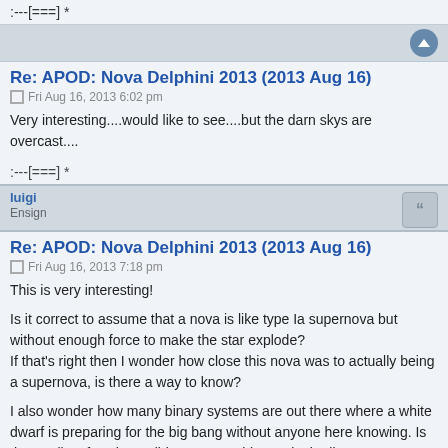:---[===] *
Re: APOD: Nova Delphini 2013 (2013 Aug 16)
Fri Aug 16, 2013 6:02 pm
Very interesting....would like to see....but the darn skys are overcast....
:---[===] *
luigi
Ensign
Re: APOD: Nova Delphini 2013 (2013 Aug 16)
Fri Aug 16, 2013 7:18 pm
This is very interesting!

Is it correct to assume that a nova is like type Ia supernova but without enough force to make the star explode?
If that's right then I wonder how close this nova was to actually being a supernova, is there a way to know?

I also wonder how many binary systems are out there where a white dwarf is preparing for the big bang without anyone here knowing. Is there a list of such candidates? Was this star in the list?